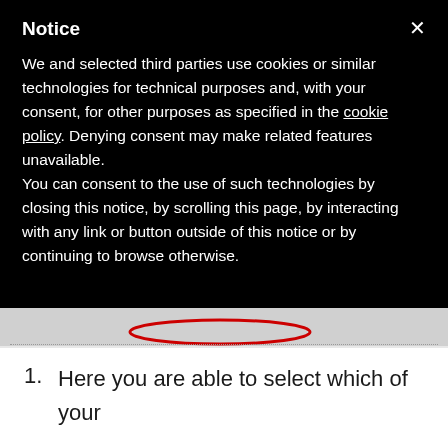Notice
We and selected third parties use cookies or similar technologies for technical purposes and, with your consent, for other purposes as specified in the cookie policy. Denying consent may make related features unavailable.
You can consent to the use of such technologies by closing this notice, by scrolling this page, by interacting with any link or button outside of this notice or by continuing to browse otherwise.
[Figure (screenshot): Top portion of a web page partially obscured by a cookie consent modal overlay. A red oval highlight is visible near the top. A dotted horizontal separator line is visible below.]
Here you are able to select which of your personalized templates should be used for the first, second and third attempt.
Another great feature: You can choose how long you want to wait between each attempt. Pitchbox automatically...